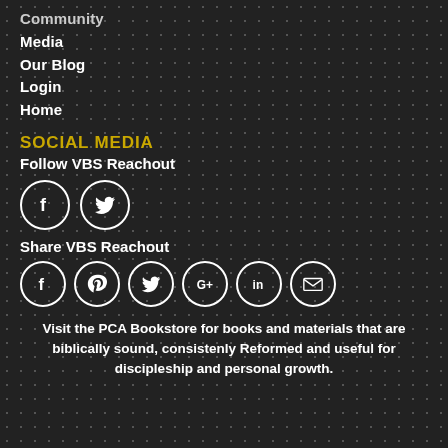Community
Media
Our Blog
Login
Home
SOCIAL MEDIA
Follow VBS Reachout
[Figure (illustration): Facebook and Twitter social media icon circles for following VBS Reachout]
Share VBS Reachout
[Figure (illustration): Facebook, Pinterest, Twitter, Google+, LinkedIn, and Email social media icon circles for sharing VBS Reachout]
Visit the PCA Bookstore for books and materials that are biblically sound, consistenly Reformed and useful for discipleship and personal growth.